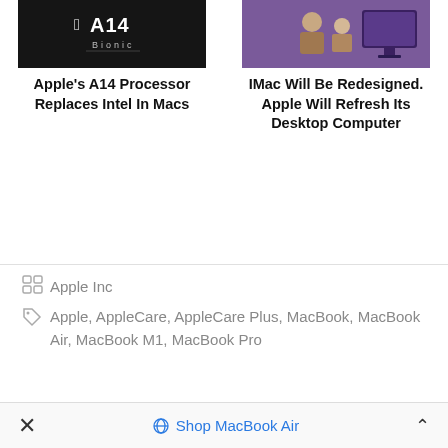[Figure (screenshot): Apple A14 Bionic chip logo on dark background]
Apple's A14 Processor Replaces Intel In Macs
[Figure (photo): Two people looking at an iMac desktop computer screen]
IMac Will Be Redesigned. Apple Will Refresh Its Desktop Computer
Apple Inc
Apple, AppleCare, AppleCare Plus, MacBook, MacBook Air, MacBook M1, MacBook Pro
Shop MacBook Air